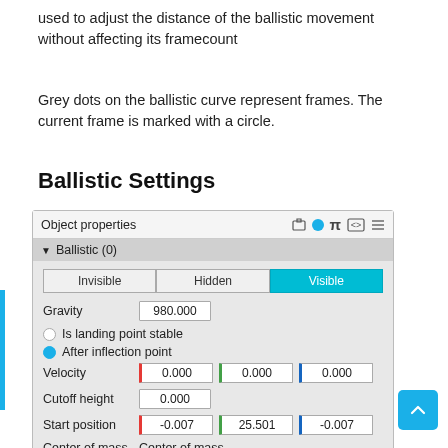used to adjust the distance of the ballistic movement without affecting its framecount
Grey dots on the ballistic curve represent frames. The current frame is marked with a circle.
Ballistic Settings
[Figure (screenshot): Blender Object Properties panel showing Ballistic (0) settings with Invisible/Hidden/Visible toggle buttons, Gravity field showing 980.000, Is landing point stable radio (unchecked), After inflection point radio (checked, blue), Velocity fields showing 0.000 / 0.000 / 0.000 with red/green/blue left borders, Cutoff height showing 0.000, Start position showing -0.007 / 25.501 / -0.007 with red/green/blue borders, Center of mass label.]